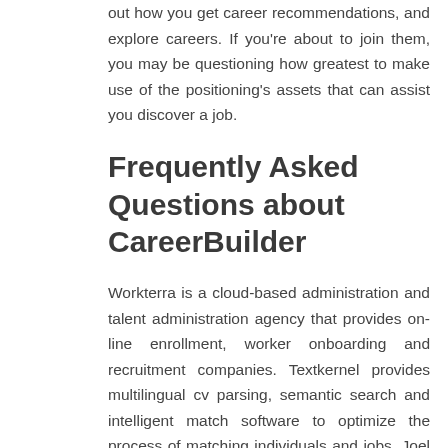out how you get career recommendations, and explore careers. If you're about to join them, you may be questioning how greatest to make use of the positioning's assets that can assist you discover a job.
Frequently Asked Questions about CareerBuilder
Workterra is a cloud-based administration and talent administration agency that provides on-line enrollment, worker onboarding and recruitment companies. Textkernel provides multilingual cv parsing, semantic search and intelligent match software to optimize the process of matching individuals and jobs. Joel Cheesman has over 20 years experience within the online recruitment space. He worked for each worldwide and